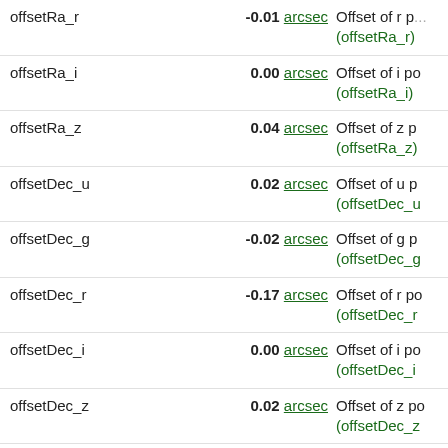| Name | Value | Description |
| --- | --- | --- |
| offsetRa_r | -0.01 arcsec | Offset of r po... (offsetRa_r) |
| offsetRa_i | 0.00 arcsec | Offset of i po... (offsetRa_i) |
| offsetRa_z | 0.04 arcsec | Offset of z po... (offsetRa_z) |
| offsetDec_u | 0.02 arcsec | Offset of u p... (offsetDec_u) |
| offsetDec_g | -0.02 arcsec | Offset of g p... (offsetDec_g) |
| offsetDec_r | -0.17 arcsec | Offset of r po... (offsetDec_r) |
| offsetDec_i | 0.00 arcsec | Offset of i po... (offsetDec_i) |
| offsetDec_z | 0.02 arcsec | Offset of z po... (offsetDec_z) |
| parentID | 1237670450521309195 | Pointer to pa... deblended) ( |
| specObjID | 0 | Pointer to the... 0 (specObjID |
| u | 16.822 mag | (i) [4/37.3] M... filter AB sca... |